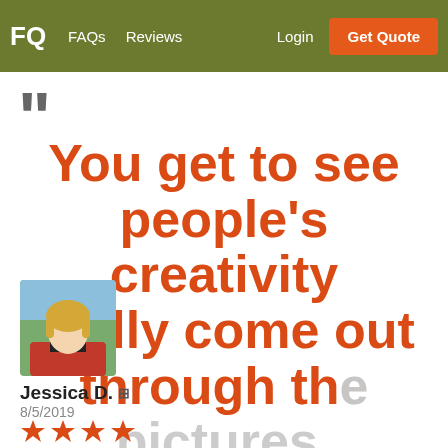FQ   FAQs   Reviews   Login   Get Quote
“ You get to see people’s creativity really come out through the pictures.
Jessica D. 📎
8/5/2019